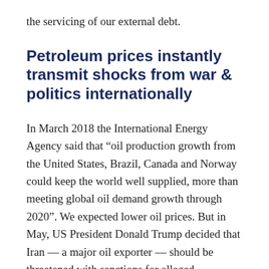the servicing of our external debt.
Petroleum prices instantly transmit shocks from war & politics internationally
In March 2018 the International Energy Agency said that “oil production growth from the United States, Brazil, Canada and Norway could keep the world well supplied, more than meeting global oil demand growth through 2020”. We expected lower oil prices. But in May, US President Donald Trump decided that Iran — a major oil exporter — should be threatened with sanctions for alleged deviations from oversight constraints on its nuclear enrichment programme